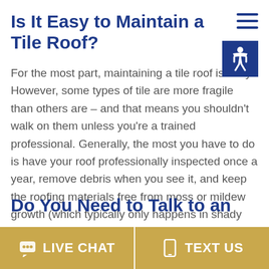Is It Easy to Maintain a Tile Roof?
For the most part, maintaining a tile roof is easy. However, some types of tile are more fragile than others are – and that means you shouldn't walk on them unless you're a trained professional. Generally, the most you have to do is have your roof professionally inspected once a year, remove debris when you see it, and keep the roofing materials free from moss or mildew growth (which typically only happens in shady spots).
Do You Need to Talk to an
LIVE CHAT   TEXT US